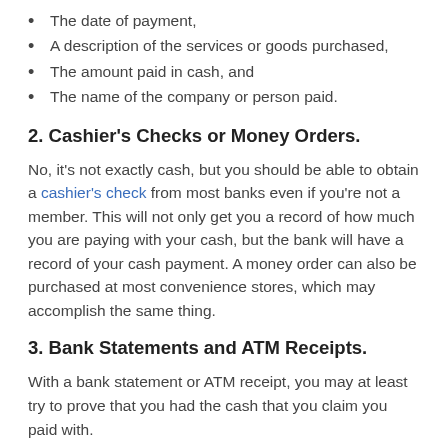The date of payment,
A description of the services or goods purchased,
The amount paid in cash, and
The name of the company or person paid.
2. Cashier's Checks or Money Orders.
No, it's not exactly cash, but you should be able to obtain a cashier's check from most banks even if you're not a member. This will not only get you a record of how much you are paying with your cash, but the bank will have a record of your cash payment. A money order can also be purchased at most convenience stores, which may accomplish the same thing.
3. Bank Statements and ATM Receipts.
With a bank statement or ATM receipt, you may at least try to prove that you had the cash that you claim you paid with.